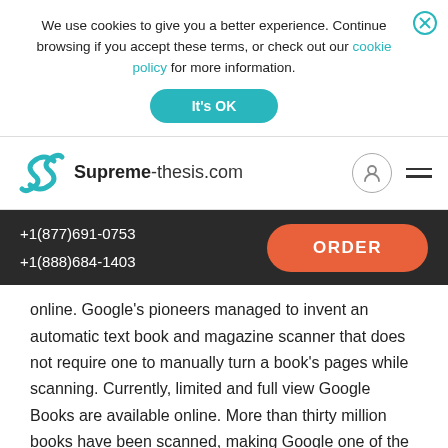We use cookies to give you a better experience. Continue browsing if you accept these terms, or check out our cookie policy for more information.
It's OK
Supreme-thesis.com
+1(877)691-0753 +1(888)684-1403 ORDER
online. Google's pioneers managed to invent an automatic text book and magazine scanner that does not require one to manually turn a book's pages while scanning. Currently, limited and full view Google Books are available online. More than thirty million books have been scanned, making Google one of the largest online libraries (Wu, 2015). Readers, students, and other interested parties can access information from books available online. Google Scholar is closely related to Google Books — the index houses peer-reviewed online